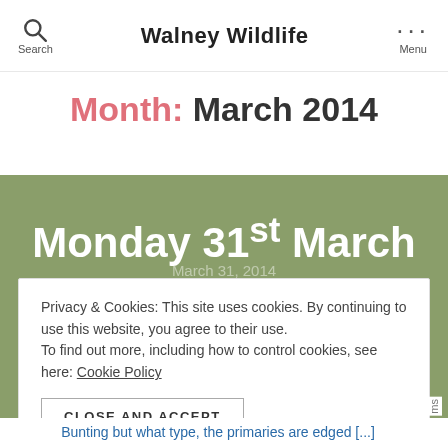Search | Walney Wildlife | Menu
Month: March 2014
Monday 31st March
Privacy & Cookies: This site uses cookies. By continuing to use this website, you agree to their use. To find out more, including how to control cookies, see here: Cookie Policy
CLOSE AND ACCEPT
Bunting but what type, the primaries are edged [...]